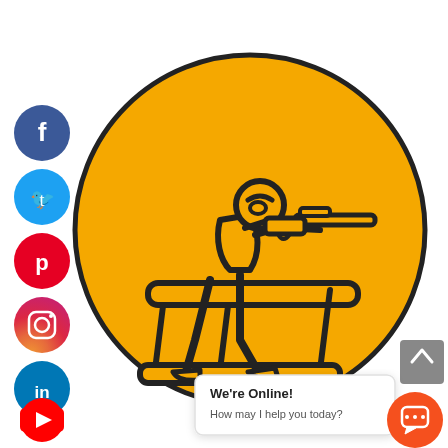[Figure (illustration): Orange circle with black outline containing a stick-figure illustration of a person in a shooting/prone position aiming a rifle, with a bench rest support stand. Social media icons (Facebook, Twitter, Pinterest, Instagram, LinkedIn, YouTube) stacked vertically on the left side. A gray scroll-to-top button on the right. An orange chat button with speech bubble icon at bottom right. A white chat popup box reading 'We're Online! How may I help you today?']